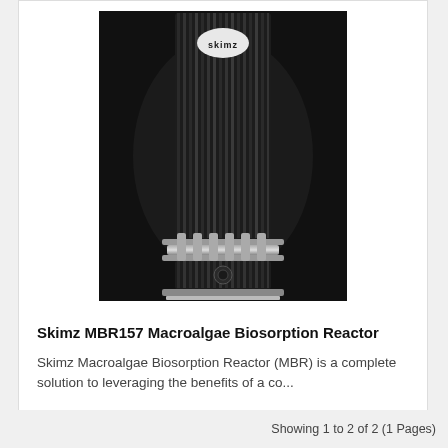[Figure (photo): Photo of Skimz MBR157 Macroalgae Biosorption Reactor — a tall black cylindrical reactor device with vertical ridges, a silver connector ring in the middle, and a black base, photographed against a dark background. The Skimz logo badge is visible near the top.]
Skimz MBR157 Macroalgae Biosorption Reactor
Skimz Macroalgae Biosorption Reactor (MBR) is a complete solution to leveraging the benefits of a co...
Showing 1 to 2 of 2 (1 Pages)